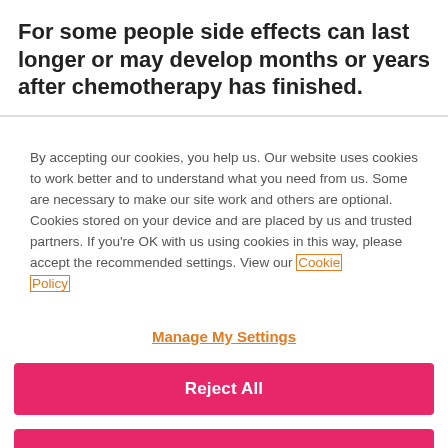For some people side effects can last longer or may develop months or years after chemotherapy has finished.
By accepting our cookies, you help us. Our website uses cookies to work better and to understand what you need from us. Some are necessary to make our site work and others are optional. Cookies stored on your device and are placed by us and trusted partners. If you're OK with us using cookies in this way, please accept the recommended settings. View our Cookie Policy
Manage My Settings
Reject All
Accept All Cookies